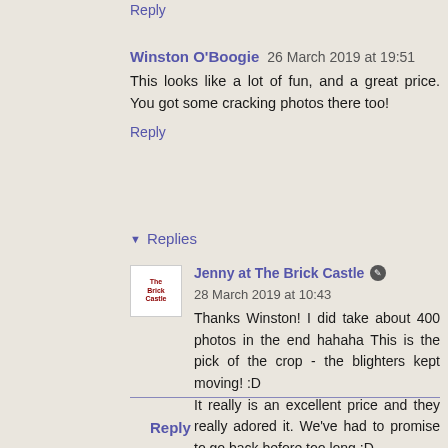Reply
Winston O'Boogie  26 March 2019 at 19:51
This looks like a lot of fun, and a great price. You got some cracking photos there too!
Reply
▾ Replies
Jenny at The Brick Castle  28 March 2019 at 10:43
Thanks Winston! I did take about 400 photos in the end hahaha This is the pick of the crop - the blighters kept moving! :D
It really is an excellent price and they really adored it. We've had to promise to go back before too long :D
Reply